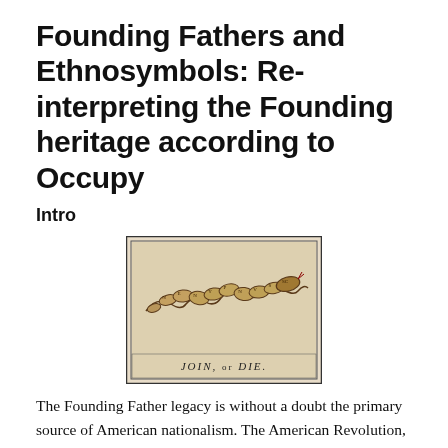Founding Fathers and Ethnosymbols: Re-interpreting the Founding heritage according to Occupy
Intro
[Figure (illustration): Historical woodcut illustration of a segmented snake with the caption 'JOIN, or DIE.' — Benjamin Franklin's famous political cartoon.]
The Founding Father legacy is without a doubt the primary source of American nationalism. The American Revolution, George Washington, the Declaration of Independence and the Liberty Bell are symbols which inspire pride and